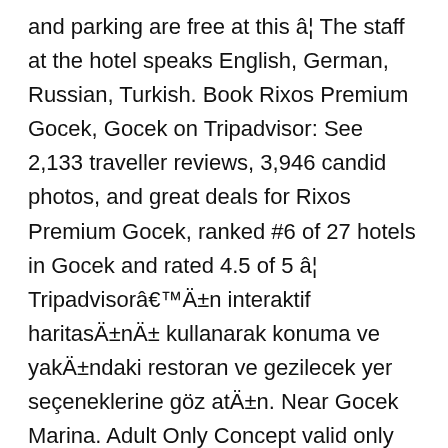and parking are free at this â¦ The staff at the hotel speaks English, German, Russian, Turkish. Book Rixos Premium Gocek, Gocek on Tripadvisor: See 2,133 traveller reviews, 3,946 candid photos, and great deals for Rixos Premium Gocek, ranked #6 of 27 hotels in Gocek and rated 4.5 of 5 â¦ Tripadvisorâ€™Ä±n interaktif haritasÄ±nÄ± kullanarak konuma ve yakÄ±ndaki restoran ve gezilecek yer seçeneklerine göz atÄ±n. Near Gocek Marina. Adult Only Concept valid only dates between April the â¦ From AU$198 per night on Tripadvisor: Rixos Premium Gocek, Gocek. Food & beverage services at this property may be limited or unavailable due to Coronavirus (COVID-19). Rixos Premium Gocek, Gocek Picture: Recreational facility - Check out Tripadvisor members' 3,857 candid photos and videos. Rusya Otelleri. Surrounded by pine trees, the